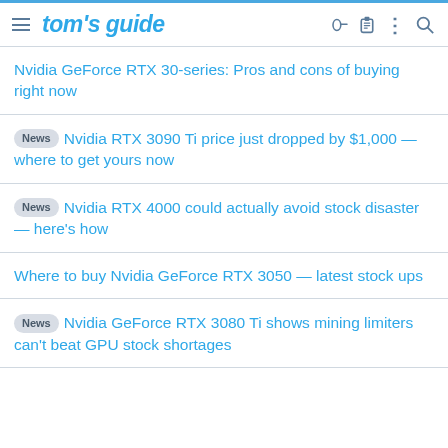tom's guide
Nvidia GeForce RTX 30-series: Pros and cons of buying right now
News Nvidia RTX 3090 Ti price just dropped by $1,000 — where to get yours now
News Nvidia RTX 4000 could actually avoid stock disaster — here's how
Where to buy Nvidia GeForce RTX 3050 — latest stock ups
News Nvidia GeForce RTX 3080 Ti shows mining limiters can't beat GPU stock shortages